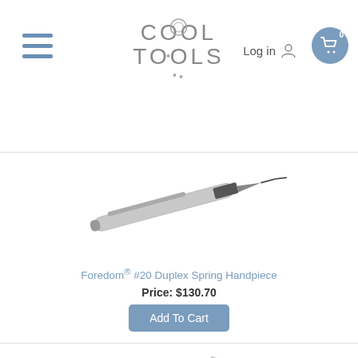Cool Tools — Log in — Cart (0)
[Figure (photo): Silver and black pen-style rotary handpiece tool (Foredom #20 Duplex Spring Handpiece) shown diagonally against white background]
Foredom® #20 Duplex Spring Handpiece
Price: $130.70
Add To Cart
[Figure (photo): Black and silver precision handpiece tool with wrench accessory, shown diagonally against white background]